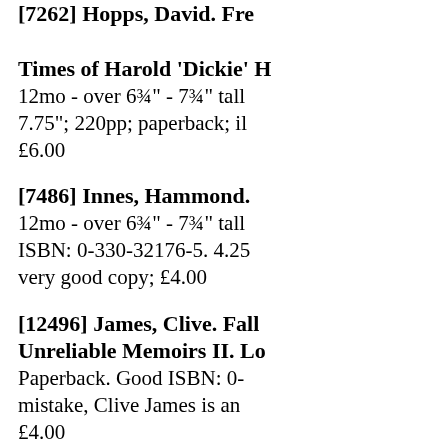[7262] Hopps, David. Fre... Times of Harold 'Dickie' H... 12mo - over 6¾" - 7¾" tall... 7.75"; 220pp; paperback; il... £6.00
[7486] Innes, Hammond. ... 12mo - over 6¾" - 7¾" tall... ISBN: 0-330-32176-5. 4.25... very good copy;  £4.00
[12496] James, Clive. Fall... Unreliable Memoirs II. Lo... Paperback. Good ISBN: 0-... mistake, Clive James is an... £4.00
[10435] Johnson, Peter. D...